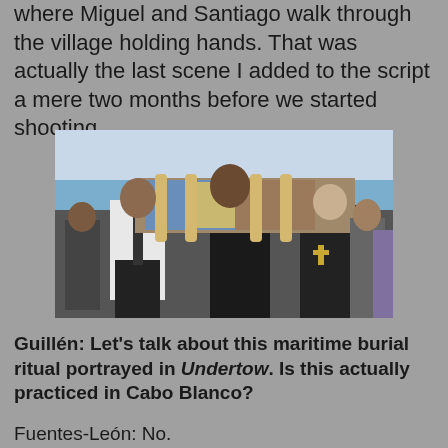where Miguel and Santiago walk through the village holding hands. That was actually the last scene I added to the script a mere two months before we started shooting.
[Figure (photo): A group of people dressed in black carrying a body wrapped in colorful cloth on a stretcher during what appears to be a maritime burial procession on a beach. A man in a white shirt and tie and a man in black are visible in front, with a priest and mourners behind them.]
Guillén: Let's talk about this maritime burial ritual portrayed in Undertow. Is this actually practiced in Cabo Blanco?
Fuentes-León: No.